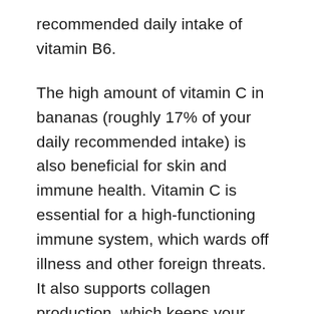recommended daily intake of vitamin B6.
The high amount of vitamin C in bananas (roughly 17% of your daily recommended intake) is also beneficial for skin and immune health. Vitamin C is essential for a high-functioning immune system, which wards off illness and other foreign threats. It also supports collagen production, which keeps your skin elastic and your joints